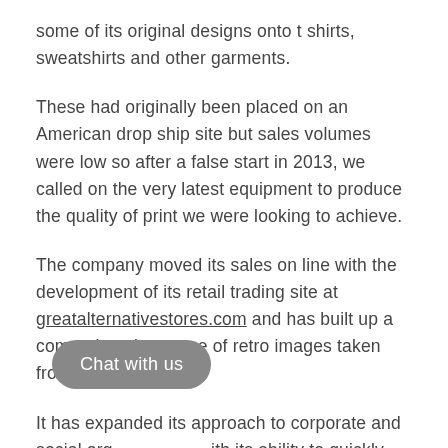some of its original designs onto t shirts, sweatshirts and other garments.
These had originally been placed on an American drop ship site but sales volumes were low so after a false start in 2013, we called on the very latest equipment to produce the quality of print we were looking to achieve.
The company moved its sales on line with the development of its retail trading site at greatalternativestores.com and has built up a comprehensive range of retro images taken from its past.
It has expanded its approach to corporate and social org[...] with its ability to quickly produce on d[...] logos and fast sampling in full colour if [...]